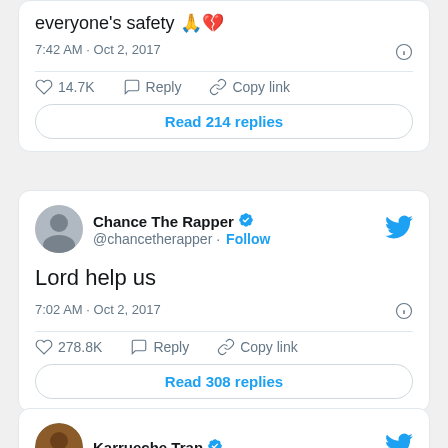everyone's safety 🙏💔
7:42 AM · Oct 2, 2017
14.7K   Reply   Copy link
Read 214 replies
Chance The Rapper @chancetherapper · Follow
Lord help us
7:02 AM · Oct 2, 2017
278.8K   Reply   Copy link
Read 308 replies
Karrueche Tran